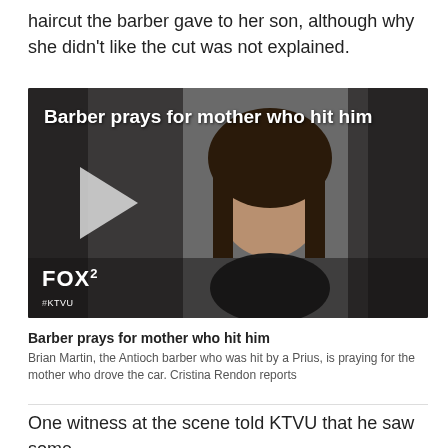haircut the barber gave to her son, although why she didn't like the cut was not explained.
[Figure (screenshot): Video thumbnail showing a woman's mugshot with text overlay 'Barber prays for mother who hit him', FOX2 / KTVU branding, and a play button]
Barber prays for mother who hit him
Brian Martin, the Antioch barber who was hit by a Prius, is praying for the mother who drove the car. Cristina Rendon reports
One witness at the scene told KTVU that he saw some